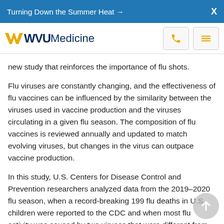Turning Down the Summer Heat →   X
[Figure (logo): WVU Medicine logo with gold flying WV icon and dark blue WVU Medicine text, plus phone and menu icons]
new study that reinforces the importance of flu shots.
Flu viruses are constantly changing, and the effectiveness of flu vaccines can be influenced by the similarity between the viruses used in vaccine production and the viruses circulating in a given flu season. The composition of flu vaccines is reviewed annually and updated to match evolving viruses, but changes in the virus can outpace vaccine production.
In this study, U.S. Centers for Disease Control and Prevention researchers analyzed data from the 2019–2020 flu season, when a record-breaking 199 flu deaths in U.S. children were reported to the CDC and when most flu activity was caused by two viruses that were different from the virus used in the vaccine.
Flu vaccination reduced the risk of severe flu in children by